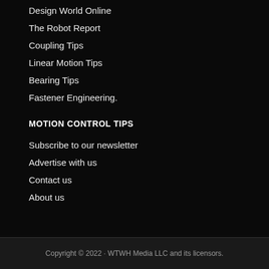Design World Online
The Robot Report
Coupling Tips
Linear Motion Tips
Bearing Tips
Fastener Engineering.
MOTION CONTROL TIPS
Subscribe to our newsletter
Advertise with us
Contact us
About us
Copyright © 2022 · WTWH Media LLC and its licensors.